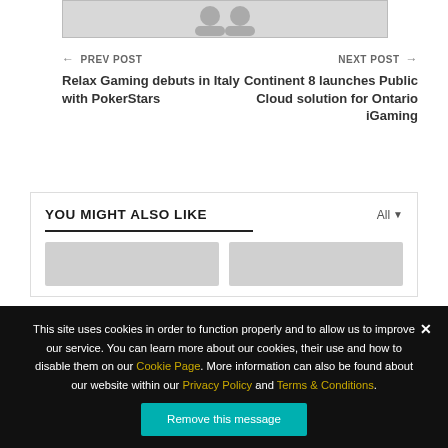[Figure (illustration): Partial view of a gray placeholder avatar/image at the top of the page]
← PREV POST
Relax Gaming debuts in Italy with PokerStars
NEXT POST →
Continent 8 launches Public Cloud solution for Ontario iGaming
YOU MIGHT ALSO LIKE
[Figure (illustration): Two gray placeholder thumbnail images side by side in the 'You Might Also Like' section]
This site uses cookies in order to function properly and to allow us to improve our service. You can learn more about our cookies, their use and how to disable them on our Cookie Page. More information can also be found about our website within our Privacy Policy and Terms & Conditions.
Remove this message